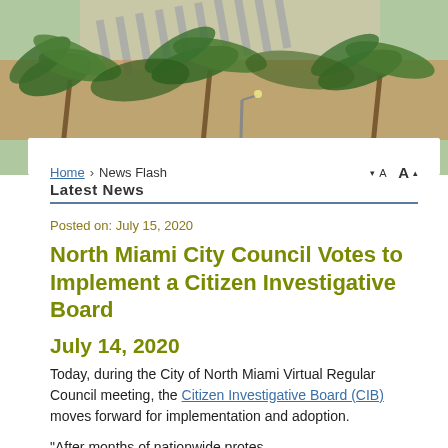[Figure (photo): Aerial or overhead photo showing palm trees and a building with striped awning/roof, tropical setting]
Home › News Flash
Latest News
Posted on: July 15, 2020
North Miami City Council Votes to Implement a Citizen Investigative Board
July 14, 2020
Today, during the City of North Miami Virtual Regular Council meeting, the Citizen Investigative Board (CIB) moves forward for implementation and adoption.
"After months of nationwide protes... City of North Miami took action in order to protect the safety and welfare of all North Miami residents," said